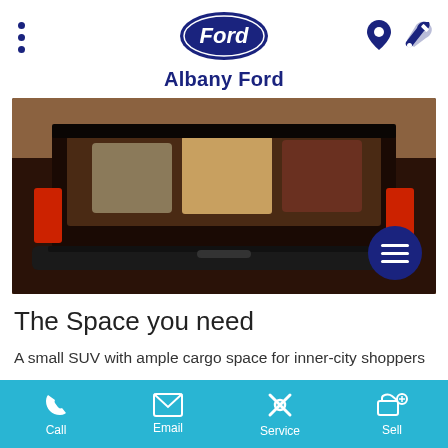Albany Ford
[Figure (photo): Rear view of a Ford Escape SUV with the boot/trunk open, loaded with luggage and bags, parked outdoors.]
The Space you need
A small SUV with ample cargo space for inner-city shoppers amd weekend adventures alike. With 556L of luggage space in the rear, the Ford Escape boot space increases upto 1478L with the rear seats folded down in a 60/40 split.
Call  Email  Service  Sell